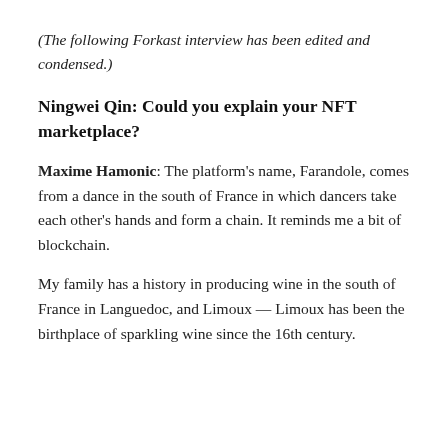(The following Forkast interview has been edited and condensed.)
Ningwei Qin: Could you explain your NFT marketplace?
Maxime Hamonic: The platform's name, Farandole, comes from a dance in the south of France in which dancers take each other's hands and form a chain. It reminds me a bit of blockchain.
My family has a history in producing wine in the south of France in Languedoc, and Limoux — Limoux has been the birthplace of sparkling wine since the 16th century.